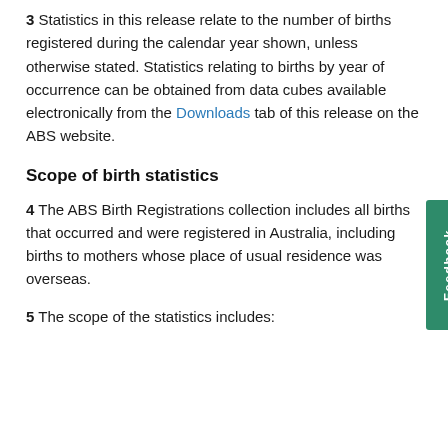3 Statistics in this release relate to the number of births registered during the calendar year shown, unless otherwise stated. Statistics relating to births by year of occurrence can be obtained from data cubes available electronically from the Downloads tab of this release on the ABS website.
Scope of birth statistics
4 The ABS Birth Registrations collection includes all births that occurred and were registered in Australia, including births to mothers whose place of usual residence was overseas.
5 The scope of the statistics includes: